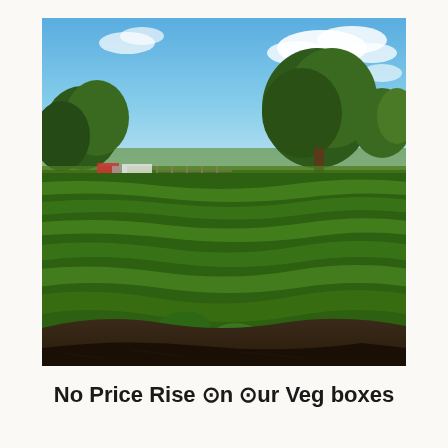[Figure (photo): A farm field with rows of lush green vegetable plants growing in dark soil, with trees and blue sky with clouds in the background. A farm vehicle or structure is visible in the mid-ground on the left.]
No Price Rise On Our Veg boxes